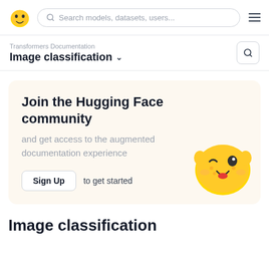Search models, datasets, users...
Transformers Documentation
Image classification
Join the Hugging Face community
and get access to the augmented documentation experience
Sign Up to get started
[Figure (illustration): Hugging Face mascot emoji with winking face]
Image classification